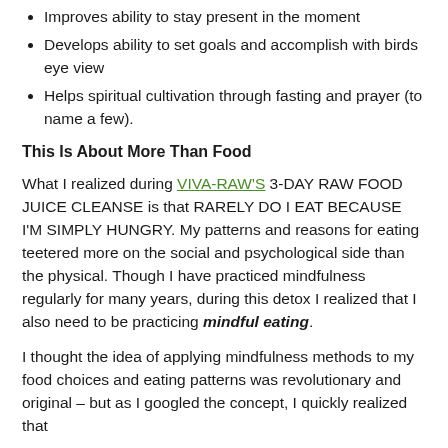Improves ability to stay present in the moment
Develops ability to set goals and accomplish with birds eye view
Helps spiritual cultivation through fasting and prayer (to name a few).
This Is About More Than Food
What I realized during VIVA-RAW'S 3-DAY RAW FOOD JUICE CLEANSE is that RARELY DO I EAT BECAUSE I'M SIMPLY HUNGRY. My patterns and reasons for eating teetered more on the social and psychological side than the physical. Though I have practiced mindfulness regularly for many years, during this detox I realized that I also need to be practicing mindful eating.
I thought the idea of applying mindfulness methods to my food choices and eating patterns was revolutionary and original – but as I googled the concept, I quickly realized that